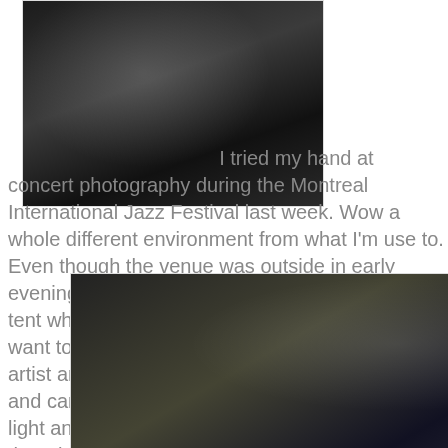[Figure (photo): Close-up photo of a musician performing at a microphone, wearing dark clothing, taken at the Montreal International Jazz Festival]
I tried my hand at concert photography during the Montreal International Jazz Festival last week. Wow a whole different environment from what I'm use to. Even though the venue was outside in early evening (7pm) the concert was located in a beer tent which was both dark and crowded. I didn't want to use flash as it would have disturbed the artist and the audience. I tried a variety of lenses and camera settings to account for the lack of light and audience member's in front of me. Even though I was seated early and had a pretty good spot so I thought, seating arrangements became rather informal as we approached show time and I had a fair number of people between me and the stage once it started.
[Figure (photo): Photo of a young male musician with light hair singing into a microphone, with a Heineken logo/backdrop visible in the background, taken at the Montreal International Jazz Festival]